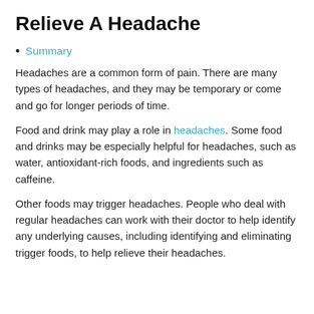Relieve A Headache
Summary
Headaches are a common form of pain. There are many types of headaches, and they may be temporary or come and go for longer periods of time.
Food and drink may play a role in headaches. Some food and drinks may be especially helpful for headaches, such as water, antioxidant-rich foods, and ingredients such as caffeine.
Other foods may trigger headaches. People who deal with regular headaches can work with their doctor to help identify any underlying causes, including identifying and eliminating trigger foods, to help relieve their headaches.